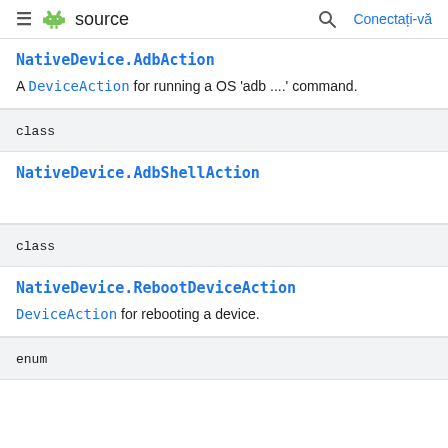≡ source  🔍 Conectați-vă
NativeDevice.AdbAction
A DeviceAction for running a OS 'adb ....' command.
class
NativeDevice.AdbShellAction
class
NativeDevice.RebootDeviceAction
DeviceAction for rebooting a device.
enum